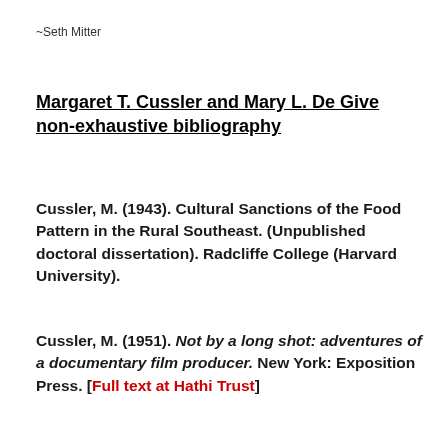~Seth Mitter
Margaret T. Cussler and Mary L. De Give non-exhaustive bibliography
Cussler, M. (1943). Cultural Sanctions of the Food Pattern in the Rural Southeast. (Unpublished doctoral dissertation). Radcliffe College (Harvard University).
Cussler, M. (1951). Not by a long shot: adventures of a documentary film producer. New York: Exposition Press. [Full text at Hathi Trust]